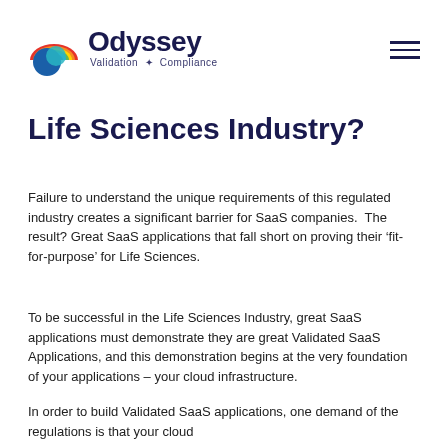[Figure (logo): Odyssey Validation & Compliance logo with colorful arc icon and dark navy wordmark]
Life Sciences Industry?
Failure to understand the unique requirements of this regulated industry creates a significant barrier for SaaS companies.  The result? Great SaaS applications that fall short on proving their ‘fit-for-purpose’ for Life Sciences.
To be successful in the Life Sciences Industry, great SaaS applications must demonstrate they are great Validated SaaS Applications, and this demonstration begins at the very foundation of your applications – your cloud infrastructure.
In order to build Validated SaaS applications, one demand of the regulations is that your cloud